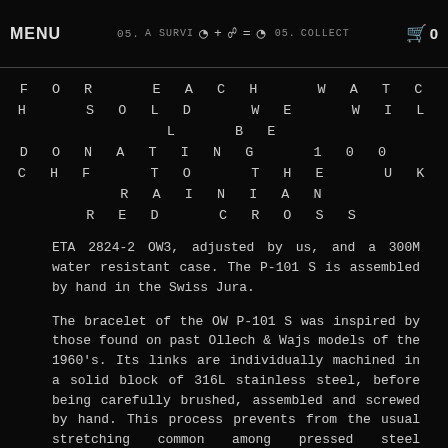MENU | [symbols: OW + peace = OW] | COLLECT | cart 0
FOR EACH WATCH SOLD WE WILL BE DONATING 100 CHF TO THE UKRAINIAN RED CROSS
ETA 2824-2 OW3, adjusted by us, and a 300M water resistant case. The P-101 S is assembled by hand in the Swiss Jura.
The bracelet of the OW P-101 S was inspired by those found on past Ollech & Wajs models of the 1960's. Its links are individually machined in a solid block of 316L stainless steel, before being carefully brushed, assembled and screwed by hand. This process prevents from the usual stretching common among pressed steel bracelets. It ensures both longevity to the bracelet and comfort to the wearer. The bracelet's double lock deployant clasp prevents any accidental opening.
Please note that our stainless steel bracelet